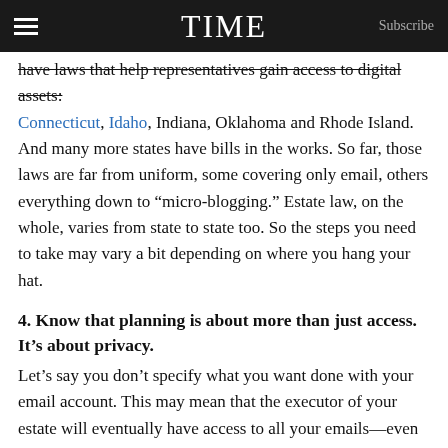TIME  Subscribe
have laws that help representatives gain access to digital assets: Connecticut, Idaho, Indiana, Oklahoma and Rhode Island. And many more states have bills in the works. So far, those laws are far from uniform, some covering only email, others everything down to “micro-blogging.” Estate law, on the whole, varies from state to state too. So the steps you need to take may vary a bit depending on where you hang your hat.
4. Know that planning is about more than just access. It’s about privacy.
Let’s say you don’t specify what you want done with your email account. This may mean that the executor of your estate will eventually have access to all your emails—even if you never wanted another living soul to see those messages. That is especially true for those living in a state with a digital-asset law. Be explicit in outlining who you want to give access to what.